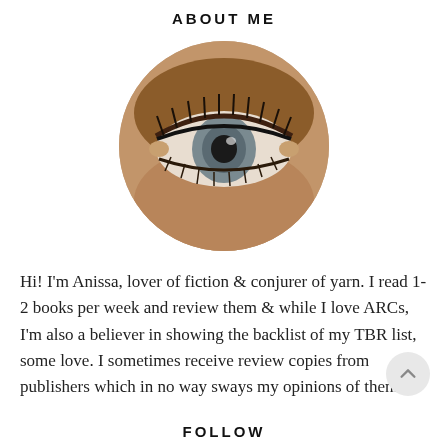ABOUT ME
[Figure (photo): Circular profile photo showing a close-up of a person's eye with dark lashes and eyeliner against skin-toned background]
Hi! I'm Anissa, lover of fiction & conjurer of yarn. I read 1-2 books per week and review them & while I love ARCs, I'm also a believer in showing the backlist of my TBR list, some love. I sometimes receive review copies from publishers which in no way sways my opinions of them.
FOLLOW